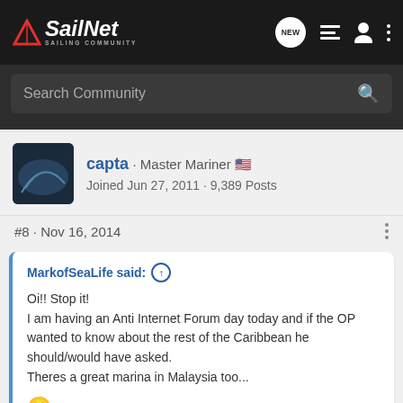SailNet - Sailing Community
Search Community
capta · Master Mariner 🇺🇸
Joined Jun 27, 2011 · 9,389 Posts
#8 · Nov 16, 2014
MarkofSeaLife said: ↑
Oi!! Stop it!
I am having an Anti Internet Forum day today and if the OP wanted to know about the rest of the Caribbean he should/would have asked.
Theres a great marina in Malaysia too...
😊
[Figure (photo): Chevrolet 2022 Silverado advertisement banner with truck image and Chevrolet logo]